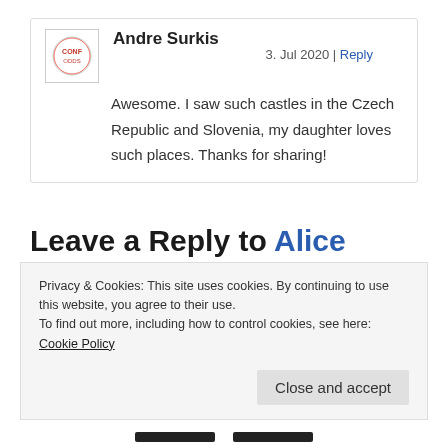Andre Surkis — 3. Jul 2020 | Reply — Awesome. I saw such castles in the Czech Republic and Slovenia, my daughter loves such places. Thanks for sharing!
Leave a Reply to Alice Krum Cancel reply
Your email address will not be published. Required fields are marked *
Privacy & Cookies: This site uses cookies. By continuing to use this website, you agree to their use. To find out more, including how to control cookies, see here: Cookie Policy